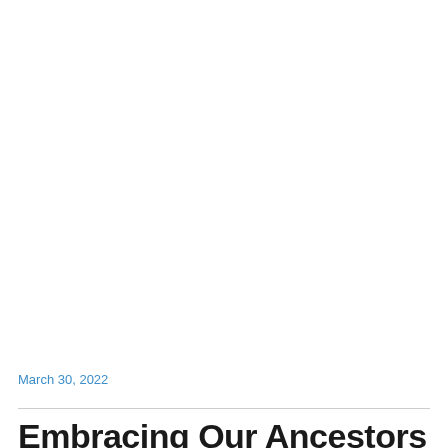March 30, 2022
Embracing Our Ancestors